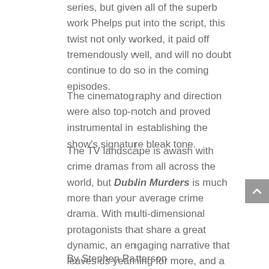series, but given all of the superb work Phelps put into the script, this twist not only worked, it paid off tremendously well, and will no doubt continue to do so in the coming episodes.
The cinematography and direction were also top-notch and proved instrumental in establishing the show's signature bleak tone.
The TV landscape is awash with crime dramas from all across the world, but Dublin Murders is much more than your average crime drama. With multi-dimensional protagonists that share a great dynamic, an engaging narrative that leaves us yearning for more, and a grisly setting to boot, there really is a lot to love about Dublin Murders. A contender for the best series of the year, for sure.
By Stephen Patterson